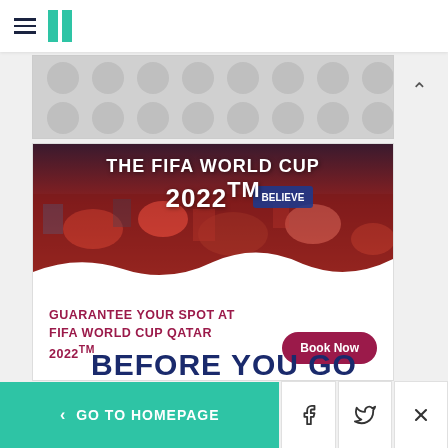HuffPost navigation header with hamburger menu and logo
[Figure (other): Gray advertisement banner with circular dot pattern]
[Figure (photo): FIFA World Cup 2022 advertisement showing crowd of fans with text 'THE FIFA WORLD CUP 2022™' and 'GUARANTEE YOUR SPOT AT FIFA WORLD CUP QATAR 2022™' with a Book Now button]
BEFORE YOU GO
< GO TO HOMEPAGE
[Figure (other): Facebook share icon button]
[Figure (other): Twitter share icon button]
[Figure (other): Close (X) button]